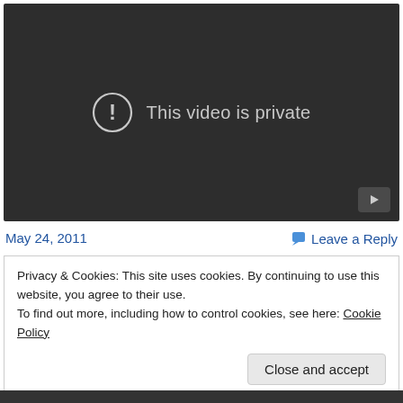[Figure (screenshot): Dark video player showing 'This video is private' message with exclamation mark icon and a small play button in the bottom right corner.]
May 24, 2011
Leave a Reply
Privacy & Cookies: This site uses cookies. By continuing to use this website, you agree to their use.
To find out more, including how to control cookies, see here: Cookie Policy
Close and accept